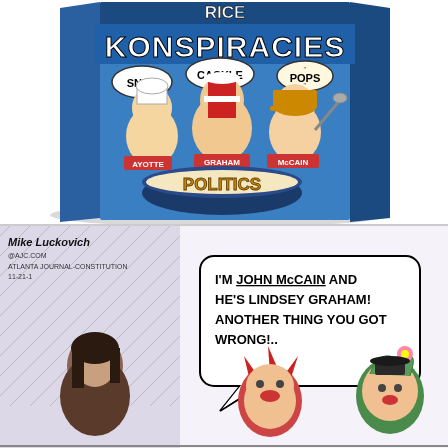[Figure (illustration): Political cartoon showing a cereal box parody of Rice Krispies called 'Rice Konspiracies' featuring caricatures of Senators Ayotte, Graham, and McCain labeled Snap, Cackle, and Pops respectively, with a bowl labeled 'Politics' at the bottom.]
[Figure (illustration): Political cartoon by Mike Luckovich (Atlanta Journal-Constitution) showing a woman facing two clown-like figures. A speech bubble reads: 'I'm John McCain and he's Lindsey Graham! Another thing you got wrong!..']